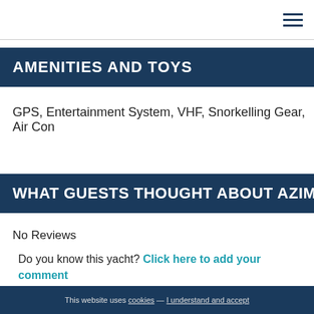≡
AMENITIES AND TOYS
GPS, Entertainment System, VHF, Snorkelling Gear, Air Con
WHAT GUESTS THOUGHT ABOUT AZIMUT 4
No Reviews
Do you know this yacht? Click here to add your comment
This website uses cookies — I understand and accept